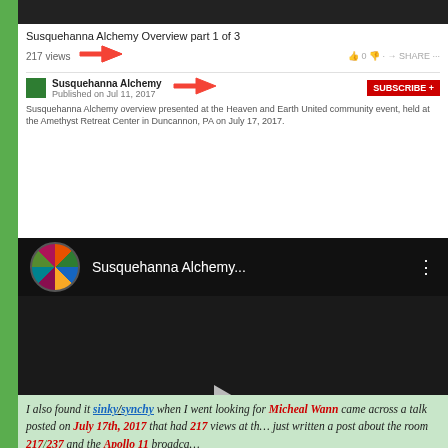[Figure (screenshot): YouTube video page screenshot showing 'Susquehanna Alchemy Overview part 1 of 3' with 217 views, published Jul 11, 2017, with red arrows pointing to the view count and channel/date. Subscribe button visible.]
[Figure (screenshot): YouTube video player showing 'Susquehanna Alchemy...' with a dark video frame, channel icon (colorful wheel), play button in center, and three-dot menu.]
I also found it sinky/synchy when I went looking for Micheal Wann came across a talk posted on July 17th, 2017 that had 217 views at the just written a post about the room 217/237 and the Apollo 11 broadca